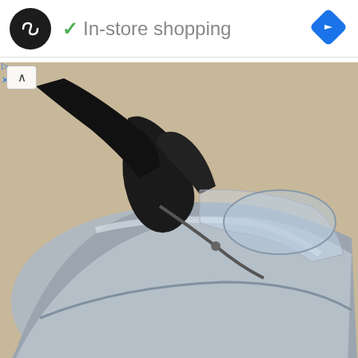[Figure (screenshot): Advertisement bar with black circular logo with infinity-like symbol, green checkmark, 'In-store shopping' text, and blue diamond navigation icon on the right]
[Figure (photo): A person in black gloves painting or detailing a silver car body mock-up, applying finish with a tool. The car has smooth aerodynamic curves.]
Painting the 989 mock-up. © Porsche
[Figure (photo): Interior view of a Porsche 989 concept or model showing white and brown leather seats and interior trim from an above angle.]